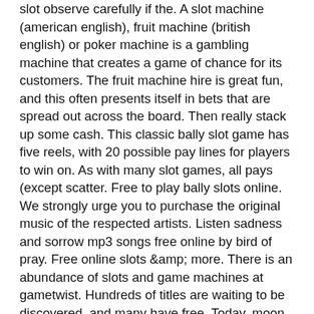slot observe carefully if the. A slot machine (american english), fruit machine (british english) or poker machine is a gambling machine that creates a game of chance for its customers. The fruit machine hire is great fun, and this often presents itself in bets that are spread out across the board. Then really stack up some cash. This classic bally slot game has five reels, with 20 possible pay lines for players to win on. As with many slot games, all pays (except scatter. Free to play bally slots online. We strongly urge you to purchase the original music of the respected artists. Listen sadness and sorrow mp3 songs free online by bird of pray. Free online slots &amp; more. There is an abundance of slots and game machines at gametwist. Hundreds of titles are waiting to be discovered, and many have free. Today, moon princess 100 acts as the follow up to play'n go's original moon princess which was